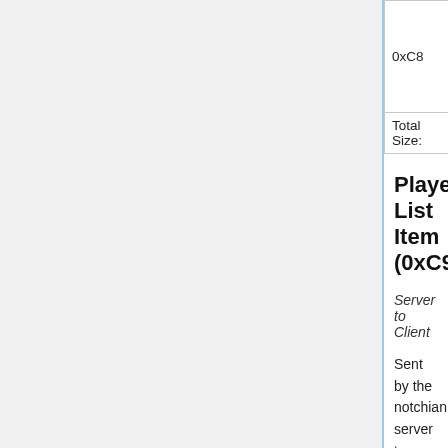| Opcode | Field | Type | Default | Notes |
| --- | --- | --- | --- | --- |
| 0xC8 | Statistic ID | int | 1003 | statistic ID. See Li... statisti... |
| 0xC8 | Amount | int | 1 | The amount increm... the statisti... |
| Total Size: | 9 bytes |  |  |  |
Player List Item (0xC9)
Server to Client
Sent by the notchian server to update the user list (<tab> in the client). The server sends one packet per user per tick, amounting to 20 packets/s for 1